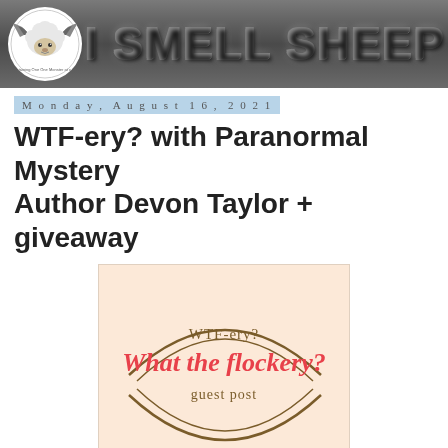[Figure (logo): I Smell Sheep blog header banner with sheep logo and metallic 'I SMELL SHEEP' text on dark gray background]
Monday, August 16, 2021
WTF-ery? with Paranormal Mystery Author Devon Taylor + giveaway
[Figure (illustration): WTF-ery? What the flockery? guest post graphic on peach/cream background with circular design elements]